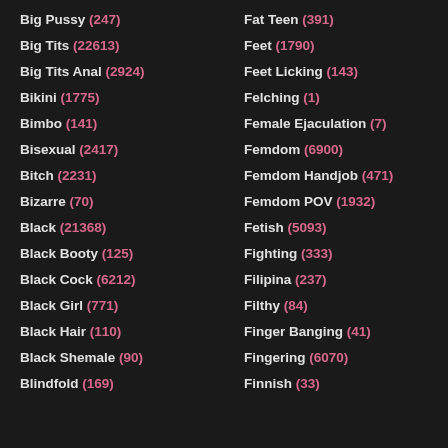Big Pussy (247)
Big Tits (22613)
Big Tits Anal (2924)
Bikini (1775)
Bimbo (141)
Bisexual (2417)
Bitch (2231)
Bizarre (70)
Black (21368)
Black Booty (125)
Black Cock (6212)
Black Girl (771)
Black Hair (110)
Black Shemale (90)
Blindfold (169)
Fat Teen (391)
Feet (1790)
Feet Licking (143)
Felching (1)
Female Ejaculation (7)
Femdom (6900)
Femdom Handjob (471)
Femdom POV (1932)
Fetish (5093)
Fighting (333)
Filipina (237)
Filthy (84)
Finger Banging (41)
Fingering (6070)
Finnish (33)